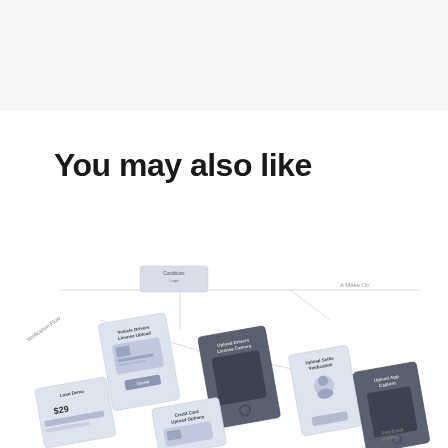[Figure (screenshot): Top gray banner area, partial screenshot of a document or UI]
You may also like
[Figure (flowchart): UX wireframe flowchart showing connected mobile and card UI screens including Vehicle Drivers License Capture, Upload Selfie, Credit Card Upload screens with arrows connecting them, shown at an angle]